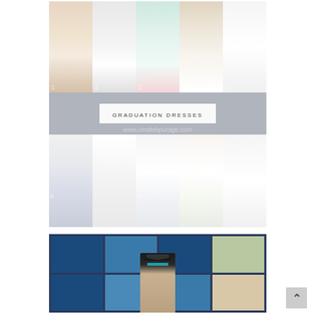[Figure (photo): Collage of graduation dresses showing white/light colored dresses numbered 1-10, with 'GRADUATION DRESSES' title overlay in a white box against gray background]
[Figure (photo): Photo of a graduation scene with blue tiled background and person wearing a graduation cap]